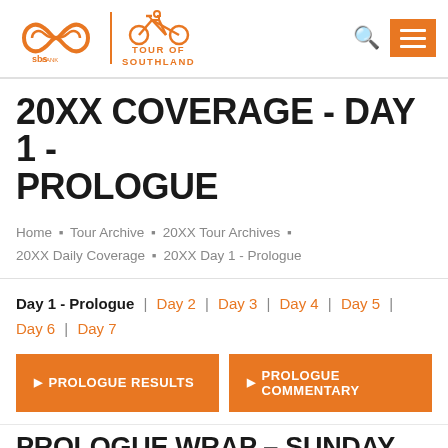[Figure (logo): SBS Bank and Tour of Southland combined logo with orange infinity/heart symbol and bicycle icon]
20XX COVERAGE - DAY 1 - PROLOGUE
Home » Tour Archive » 20XX Tour Archives » 20XX Daily Coverage » 20XX Day 1 - Prologue
Day 1 - Prologue | Day 2 | Day 3 | Day 4 | Day 5 | Day 6 | Day 7
▶ PROLOGUE RESULTS
▶ PROLOGUE COMMENTARY
PROLOGUE WRAP – SUNDAY 29TH